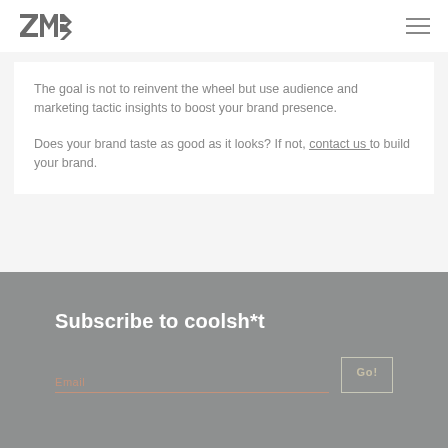ZME logo | navigation hamburger menu
The goal is not to reinvent the wheel but use audience and marketing tactic insights to boost your brand presence.

Does your brand taste as good as it looks? If not, contact us to build your brand.
Subscribe to coolsh*t
Email | Go!